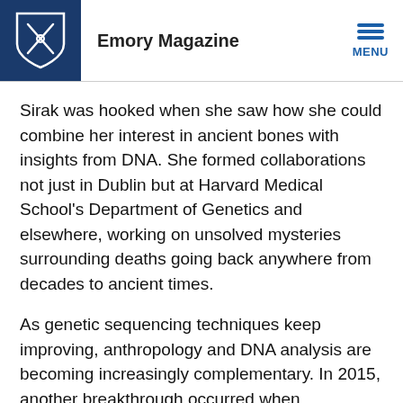Emory Magazine
Sirak was hooked when she saw how she could combine her interest in ancient bones with insights from DNA. She formed collaborations not just in Dublin but at Harvard Medical School's Department of Genetics and elsewhere, working on unsolved mysteries surrounding deaths going back anywhere from decades to ancient times.
As genetic sequencing techniques keep improving, anthropology and DNA analysis are becoming increasingly complementary. In 2015, another breakthrough occurred when researchers realized that the petrous bone consistently yielded the most DNA from ancient skeletons.
But the way the petrous bone is wedged into the skull